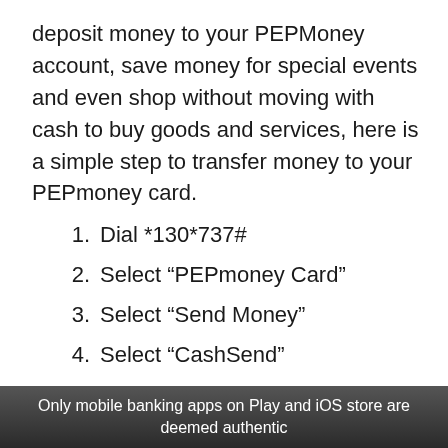deposit money to your PEPMoney account, save money for special events and even shop without moving with cash to buy goods and services, here is a simple step to transfer money to your PEPmoney card.
Dial *130*737#
Select “PEPmoney Card”
Select “Send Money”
Select “CashSend”
Enter the amount to be sent (minimum R50)
Only mobile banking apps on Play and iOS store are deemed authentic